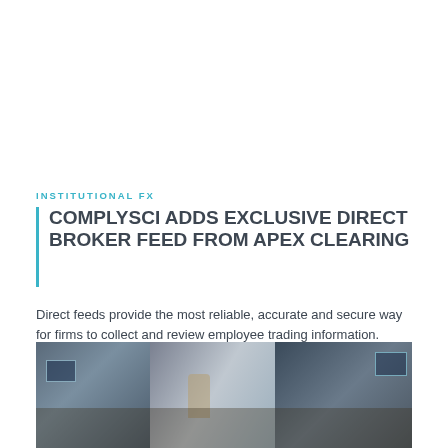INSTITUTIONAL FX
COMPLYSCI ADDS EXCLUSIVE DIRECT BROKER FEED FROM APEX CLEARING
Direct feeds provide the most reliable, accurate and secure way for firms to collect and review employee trading information. ComplySci currently provides access to more than 225 direct feeds from trading platforms.
[Figure (photo): Office/trading floor environment with people working at desks with multiple monitors]